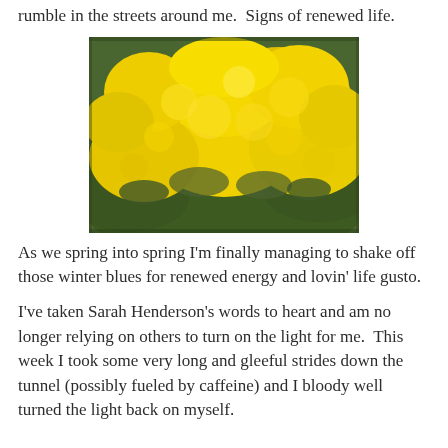rumble in the streets around me.  Signs of renewed life.
[Figure (photo): A close-up photograph of a wattle bush covered in dense, bright yellow fluffy flowers with dark green feathery foliage visible beneath.]
As we spring into spring I'm finally managing to shake off those winter blues for renewed energy and lovin' life gusto.
I've taken Sarah Henderson's words to heart and am no longer relying on others to turn on the light for me.  This week I took some very long and gleeful strides down the tunnel (possibly fueled by caffeine) and I bloody well turned the light back on myself.